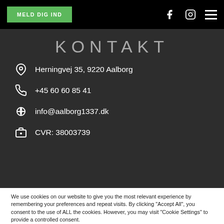MELD DIG IND
KONTAKT
Herningvej 35, 9220 Aalborg
+45 60 60 85 41
info@aalborg1337.dk
CVR: 38003739
We use cookies on our website to give you the most relevant experience by remembering your preferences and repeat visits. By clicking "Accept All", you consent to the use of ALL the cookies. However, you may visit "Cookie Settings" to provide a controlled consent.
Cookie Settings | Accept All